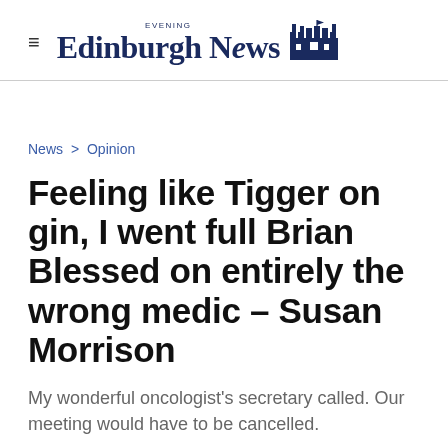Edinburgh Evening News
News > Opinion
Feeling like Tigger on gin, I went full Brian Blessed on entirely the wrong medic – Susan Morrison
My wonderful oncologist's secretary called. Our meeting would have to be cancelled.